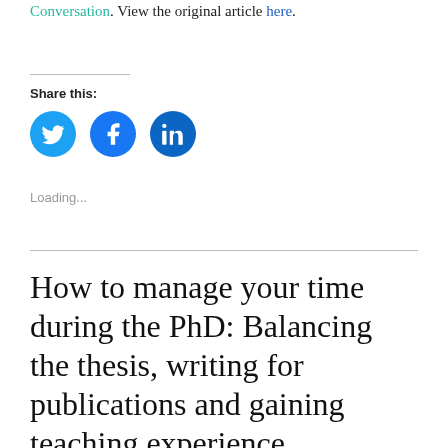Conversation. View the original article here.
Share this:
[Figure (other): Three social media share buttons: Twitter (blue bird icon), Facebook (blue f icon), LinkedIn (blue in icon)]
Loading...
How to manage your time during the PhD: Balancing the thesis, writing for publications and gaining teaching experience